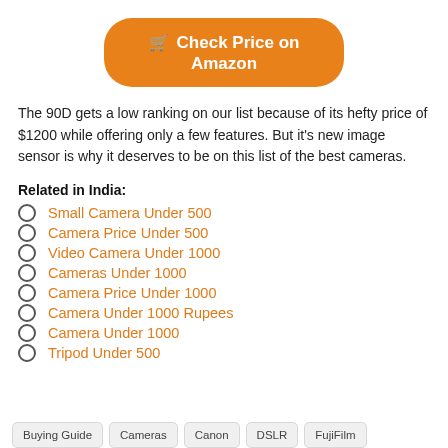[Figure (other): Orange rounded button with shopping cart icon and text 'Check Price on Amazon']
The 90D gets a low ranking on our list because of its hefty price of $1200 while offering only a few features. But it's new image sensor is why it deserves to be on this list of the best cameras.
Related in India:
Small Camera Under 500
Camera Price Under 500
Video Camera Under 1000
Cameras Under 1000
Camera Price Under 1000
Camera Under 1000 Rupees
Camera Under 1000
Tripod Under 500
Buying Guide   Cameras   Canon   DSLR   FujiFilm